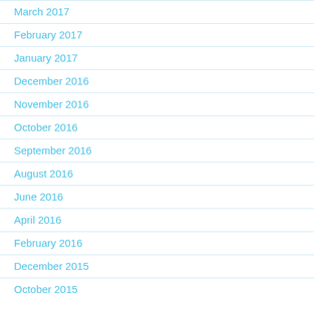March 2017
February 2017
January 2017
December 2016
November 2016
October 2016
September 2016
August 2016
June 2016
April 2016
February 2016
December 2015
October 2015